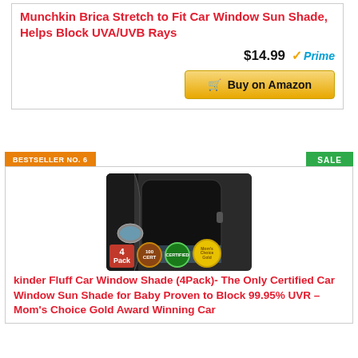Munchkin Brica Stretch to Fit Car Window Sun Shade, Helps Block UVA/UVB Rays
$14.99 Prime
Buy on Amazon
BESTSELLER NO. 6
SALE
[Figure (photo): Car window sun shade product photo showing a black shade on a car window with 4 Pack label and certification badges]
kinder Fluff Car Window Shade (4Pack)- The Only Certified Car Window Sun Shade for Baby Proven to Block 99.95% UVR - Mom's Choice Gold Award Winning Car